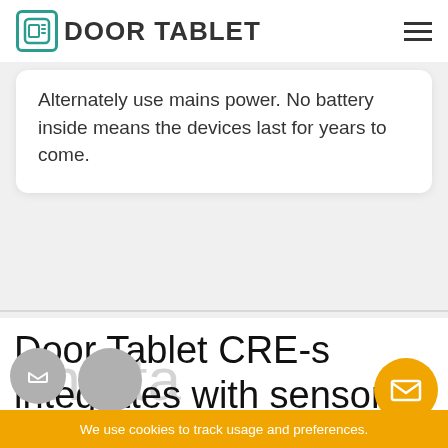DOOR TABLET
Alternately use mains power. No battery inside means the devices last for years to come.
Door Tablet CRE-s integrates with sensors and offers several options for mounting
We use cookies to track usage and preferences.